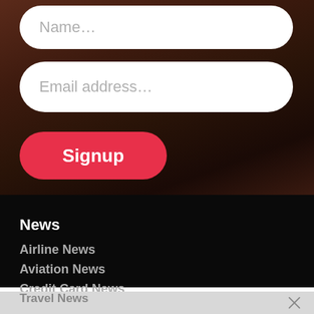[Figure (screenshot): Name input field with placeholder text 'Name...' on dark reddish-brown background]
[Figure (screenshot): Email address input field with placeholder text 'Email address...' on dark reddish-brown background]
[Figure (screenshot): Red signup button with label 'Signup']
News
Airline News
Aviation News
Credit Card News
Travel News